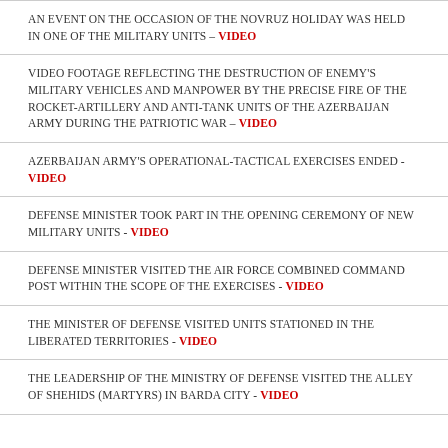AN EVENT ON THE OCCASION OF THE NOVRUZ HOLIDAY WAS HELD IN ONE OF THE MILITARY UNITS – VIDEO
VIDEO FOOTAGE REFLECTING THE DESTRUCTION OF ENEMY'S MILITARY VEHICLES AND MANPOWER BY THE PRECISE FIRE OF THE ROCKET-ARTILLERY AND ANTI-TANK UNITS OF THE AZERBAIJAN ARMY DURING THE PATRIOTIC WAR – VIDEO
AZERBAIJAN ARMY'S OPERATIONAL-TACTICAL EXERCISES ENDED - VIDEO
DEFENSE MINISTER TOOK PART IN THE OPENING CEREMONY OF NEW MILITARY UNITS - VIDEO
DEFENSE MINISTER VISITED THE AIR FORCE COMBINED COMMAND POST WITHIN THE SCOPE OF THE EXERCISES - VIDEO
THE MINISTER OF DEFENSE VISITED UNITS STATIONED IN THE LIBERATED TERRITORIES - VIDEO
THE LEADERSHIP OF THE MINISTRY OF DEFENSE VISITED THE ALLEY OF SHEHIDS (MARTYRS) IN BARDA CITY - VIDEO